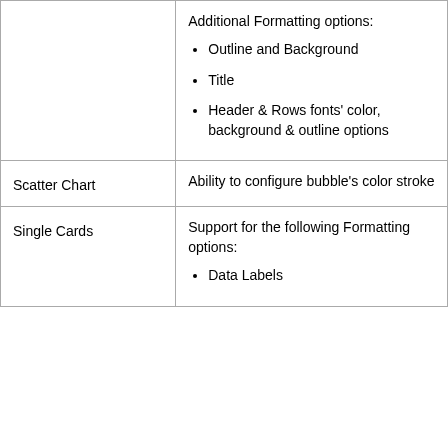|  |  |
| --- | --- |
|  | Additional Formatting options:
• Outline and Background
• Title
• Header & Rows fonts' color, background & outline options |
| Scatter Chart | Ability to configure bubble's color stroke |
| Single Cards | Support for the following Formatting options:
• Data Labels |